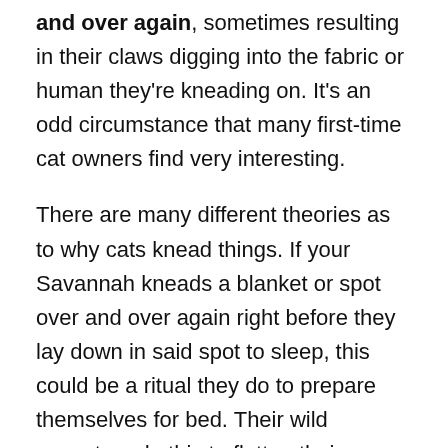and over again, sometimes resulting in their claws digging into the fabric or human they're kneading on. It's an odd circumstance that many first-time cat owners find very interesting.
There are many different theories as to why cats knead things. If your Savannah kneads a blanket or spot over and over again right before they lay down in said spot to sleep, this could be a ritual they do to prepare themselves for bed. Their wild ancestors do this to flatten their sleeping area, and this could be a hereditary trait.
Other times, your cat could simply be expressing how happy and content they are in the moment. Often, cats